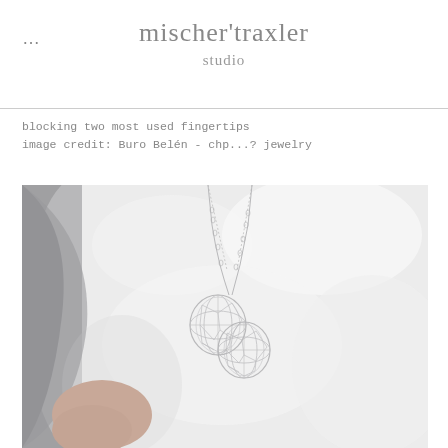mischer'traxler studio
blocking two most used fingertips
image credit: Buro Belén - chp...? jewelry
[Figure (photo): Close-up photograph of a person wearing a white fluffy coat/jacket with a delicate silver wire necklace pendant hanging down, two interconnected geometric mesh/wireframe spherical shapes forming the pendant]